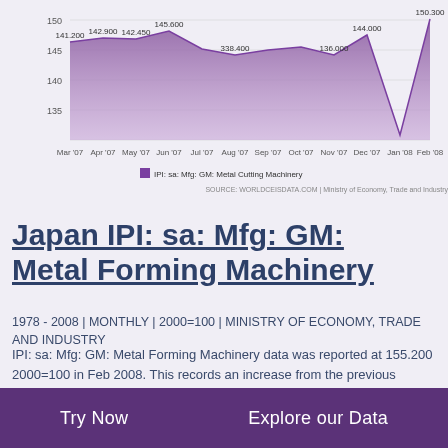[Figure (area-chart): IPI: sa: Mfg: GM: Metal Cutting Machinery]
Japan IPI: sa: Mfg: GM: Metal Forming Machinery
1978 - 2008 | MONTHLY | 2000=100 | MINISTRY OF ECONOMY, TRADE AND INDUSTRY
IPI: sa: Mfg: GM: Metal Forming Machinery data was reported at 155.200 2000=100 in Feb 2008. This records an increase from the previous number of 108.200 2000=100 for Jan 2008. IPI: sa: Mfg: GM: Metal Forming Machinery data is updated monthly, averaging 119.700 2000=100 from Jan 1978 to Feb 2008, with 362 observations. The data reached an all-time high of 261.100 2000=100 in Sep 1986 and a record low of 0.000
Try Now    Explore our Data